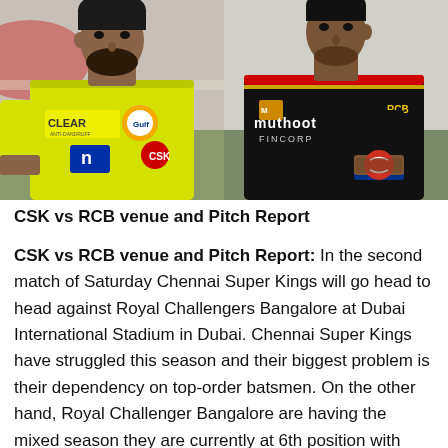[Figure (photo): Two cricket players side by side: MS Dhoni in yellow CSK jersey (left) and Virat Kohli in black/red RCB jersey (right)]
CSK vs RCB venue and Pitch Report
CSK vs RCB venue and Pitch Report: In the second match of Saturday Chennai Super Kings will go head to head against Royal Challengers Bangalore at Dubai International Stadium in Dubai. Chennai Super Kings have struggled this season and their biggest problem is their dependency on top-order batsmen. On the other hand, Royal Challenger Bangalore are having the mixed season they are currently at 6th position with three and